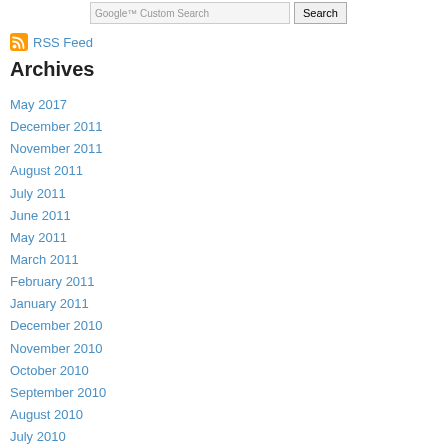Google™ Custom Search [Search]
RSS Feed
Archives
May 2017
December 2011
November 2011
August 2011
July 2011
June 2011
May 2011
March 2011
February 2011
January 2011
December 2010
November 2010
October 2010
September 2010
August 2010
July 2010
June 2010